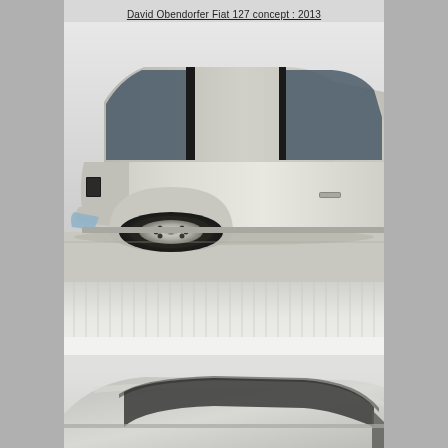David Obendorfer Fiat 127 concept : 2013
[Figure (illustration): Side view rendering of a silver/white Fiat 127 concept car showing the front-left quarter and wheel, hatchback body style with dark tinted windows, chrome wheel hub, small bumper, and door handle. Light grey gradient background with subtle shadow on ground.]
[Figure (illustration): Partial top/side view of a darker grey concept car roofline and rear window area, showing the upper portion of the vehicle against a light background. Vertical ribbed panel strip visible above.]